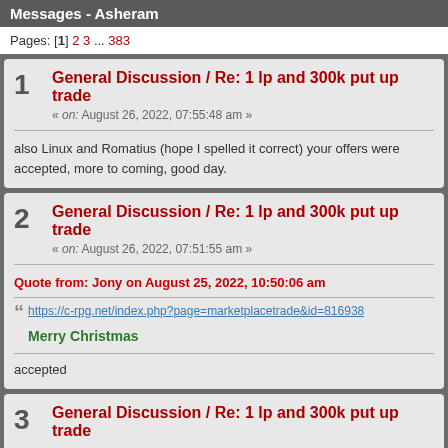Messages - Asheram
Pages: [1] 2 3 ... 383
1 General Discussion / Re: 1 lp and 300k put up trade
« on: August 26, 2022, 07:55:48 am »
also Linux and Romatius (hope I spelled it correct) your offers were accepted, more to coming, good day.
2 General Discussion / Re: 1 lp and 300k put up trade
« on: August 26, 2022, 07:51:55 am »
Quote from: Jony on August 25, 2022, 10:50:06 am
https://c-rpg.net/index.php?page=marketplacetrade&id=816938
Merry Christmas
accepted
3 General Discussion / Re: 1 lp and 300k put up trade